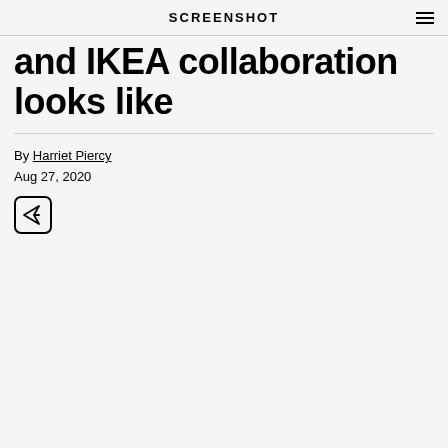SCREENSHOT
and IKEA collaboration looks like
By Harriet Piercy
Aug 27, 2020
[Figure (other): Share button icon — a rounded square with a paper airplane/send icon inside]